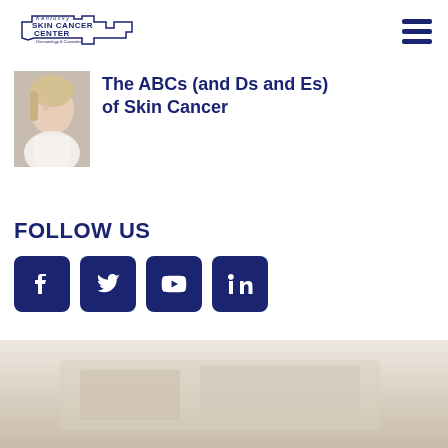[Figure (logo): Kentucky Skin Cancer Center logo with state outline and text 'Kentucky SKIN CANCER CENTER Dermatology & Cosmetics']
[Figure (photo): Thumbnail photo of a woman looking sideways, appears to be a blog post preview image]
The ABCs (and Ds and Es) of Skin Cancer
FOLLOW US
[Figure (infographic): Four social media icon buttons: Facebook, Twitter, YouTube, LinkedIn — all in dark navy blue rounded squares]
[Figure (photo): Blurred background photo of what appears to be a medical or office interior, beige/cream tones]